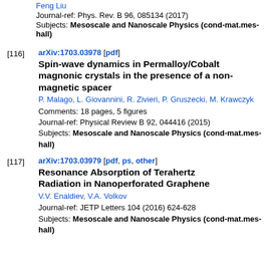Feng Liu
Journal-ref: Phys. Rev. B 96, 085134 (2017)
Subjects: Mesoscale and Nanoscale Physics (cond-mat.mes-hall)
[116] arXiv:1703.03978 [pdf]
Spin-wave dynamics in Permalloy/Cobalt magnonic crystals in the presence of a non-magnetic spacer
P. Malago, L. Giovannini, R. Zivieri, P. Gruszecki, M. Krawczyk
Comments: 18 pages, 5 figures
Journal-ref: Physical Review B 92, 044416 (2015)
Subjects: Mesoscale and Nanoscale Physics (cond-mat.mes-hall)
[117] arXiv:1703.03979 [pdf, ps, other]
Resonance Absorption of Terahertz Radiation in Nanoperforated Graphene
V.V. Enaldiev, V.A. Volkov
Journal-ref: JETP Letters 104 (2016) 624-628
Subjects: Mesoscale and Nanoscale Physics (cond-mat.mes-hall)